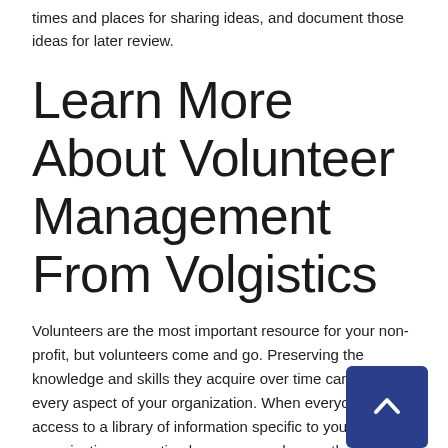times and places for sharing ideas, and document those ideas for later review.
Learn More About Volunteer Management From Volgistics
Volunteers are the most important resource for your non-profit, but volunteers come and go. Preserving the knowledge and skills they acquire over time can improve every aspect of your organization. When everyone has access to a library of information specific to your organization, operation becomes much smoother.
Encouraging volunteers to share their tips, insights, and experiences can help them feel valued and respected. It can also help new volunteers feel more confident and prepared as